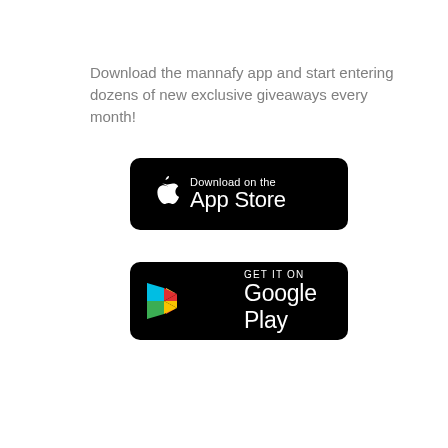Download the mannafy app and start entering dozens of new exclusive giveaways every month!
[Figure (logo): App Store download badge — black rounded rectangle with white Apple logo and text 'Download on the App Store']
[Figure (logo): Google Play download badge — black rounded rectangle with colorful Play Store triangle logo and text 'GET IT ON Google Play']